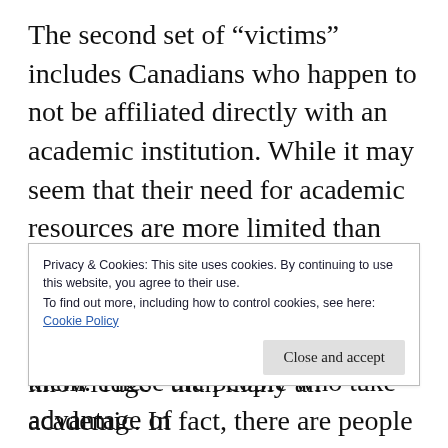The second set of “victims” includes Canadians who happen to not be affiliated directly with an academic institution. While it may seem that their need for academic resources are more limited than those of students, many people in this category have a more unquenchable “thirst for knowledge” than many an academic. In fact, there are people in this category who could probably do a lot of academically-relevant work “if only they had access.” I mostly mean people who have an
them. These are people who take advantage of
Privacy & Cookies: This site uses cookies. By continuing to use this website, you agree to their use.
To find out more, including how to control cookies, see here: Cookie Policy